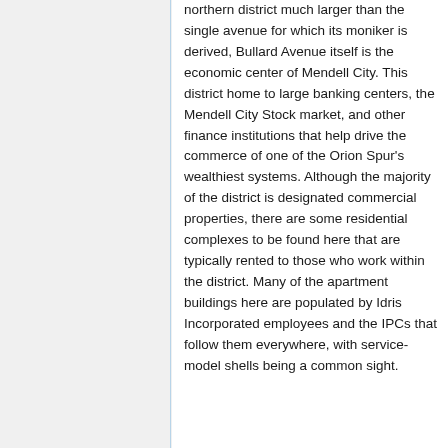northern district much larger than the single avenue for which its moniker is derived, Bullard Avenue itself is the economic center of Mendell City. This district home to large banking centers, the Mendell City Stock market, and other finance institutions that help drive the commerce of one of the Orion Spur's wealthiest systems. Although the majority of the district is designated commercial properties, there are some residential complexes to be found here that are typically rented to those who work within the district. Many of the apartment buildings here are populated by Idris Incorporated employees and the IPCs that follow them everywhere, with service-model shells being a common sight.